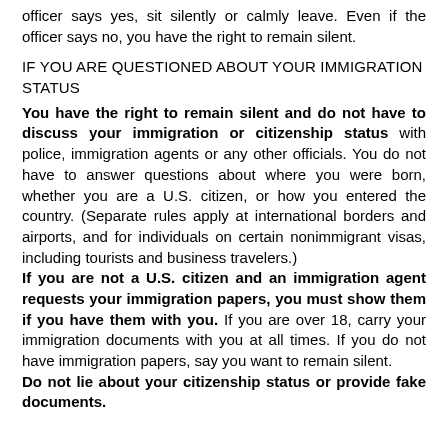officer says yes, sit silently or calmly leave. Even if the officer says no, you have the right to remain silent.
IF YOU ARE QUESTIONED ABOUT YOUR IMMIGRATION STATUS
You have the right to remain silent and do not have to discuss your immigration or citizenship status with police, immigration agents or any other officials. You do not have to answer questions about where you were born, whether you are a U.S. citizen, or how you entered the country. (Separate rules apply at international borders and airports, and for individuals on certain nonimmigrant visas, including tourists and business travelers.) If you are not a U.S. citizen and an immigration agent requests your immigration papers, you must show them if you have them with you. If you are over 18, carry your immigration documents with you at all times. If you do not have immigration papers, say you want to remain silent. Do not lie about your citizenship status or provide fake documents.